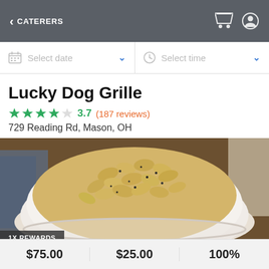< CATERERS
Select date
Select time
Lucky Dog Grille
3.7 (187 reviews)
729 Reading Rd, Mason, OH
[Figure (photo): Bowl of macaroni and cheese with black pepper, placed on a wooden surface with a blue cloth in the background]
1X REWARDS
$75.00   $25.00   100%